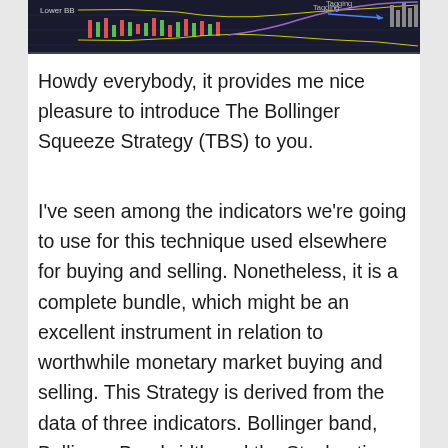[Figure (screenshot): Dark trading chart screenshot showing Bollinger Bands with 'Lower BB' label on left and 'Tagging' annotation with blue arrow on right side, purple curved line visible]
Howdy everybody, it provides me nice pleasure to introduce The Bollinger Squeeze Strategy (TBS) to you.
I've seen among the indicators we're going to use for this technique used elsewhere for buying and selling. Nonetheless, it is a complete bundle, which might be an excellent instrument in relation to worthwhile monetary market buying and selling. This Strategy is derived from the data of three indicators. Bollinger band, Bollinger Bandwidth and the Stochastic oscillator. The three indicators should all affirm our commerce sign. So to have a legitimate sign, three circumstances should be met.